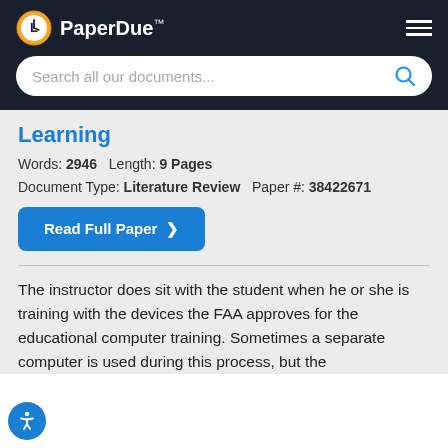PaperDue™
Learning
Words: 2946   Length: 9 Pages
Document Type: Literature Review   Paper #: 38422671
Read Full Paper ❯
The instructor does sit with the student when he or she is training with the devices the FAA approves for the educational computer training. Sometimes a separate computer is used during this process, but the...